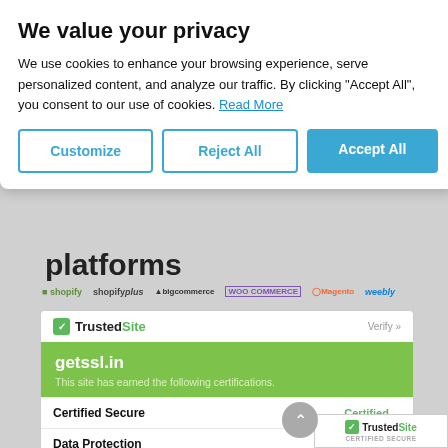We value your privacy
We use cookies to enhance your browsing experience, serve personalized content, and analyze our traffic. By clicking "Accept All", you consent to our use of cookies. Read More
platforms
[Figure (logo): Row of e-commerce platform logos: Shopify, Shopify Plus, BigCommerce, WooCommerce, Magento, Weebly]
[Figure (screenshot): TrustedSite certification widget showing getssl.in domain with Certified Secure and Data Protection certifications]